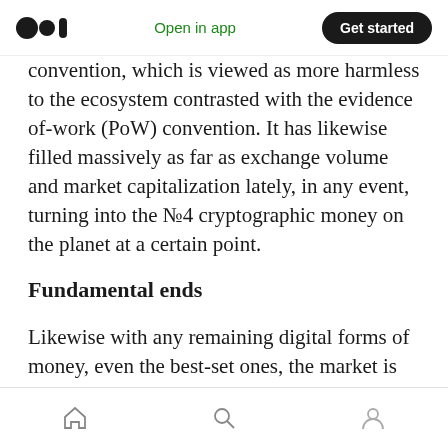Open in app | Get started
convention, which is viewed as more harmless to the ecosystem contrasted with the evidence of-work (PoW) convention. It has likewise filled massively as far as exchange volume and market capitalization lately, in any event, turning into the №4 cryptographic money on the planet at a certain point.
Fundamental ends
Likewise with any remaining digital forms of money, even the best-set ones, the market is extremely unstable and you really want to do
Home | Search | Profile